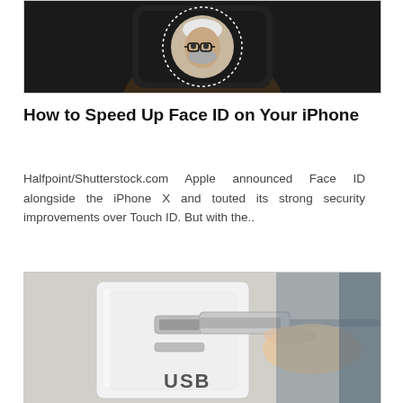[Figure (photo): A hand holding a smartphone displaying a man's face with white hair and glasses, overlaid with a circular pattern resembling a combination lock or Face ID interface, on a dark background.]
How to Speed Up Face ID on Your iPhone
Halfpoint/Shutterstock.com Apple announced Face ID alongside the iPhone X and touted its strong security improvements over Touch ID. But with the..
[Figure (photo): A hand plugging a USB cable into a white USB wall outlet/charger, with the word USB visible at the bottom of the outlet plate.]